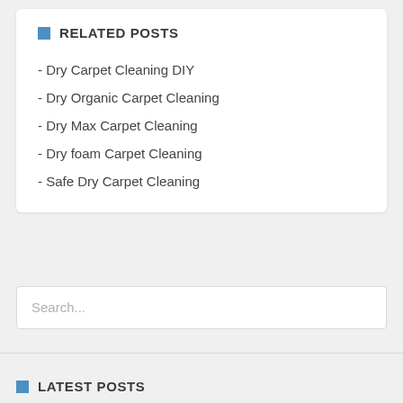RELATED POSTS
- Dry Carpet Cleaning DIY
- Dry Organic Carpet Cleaning
- Dry Max Carpet Cleaning
- Dry foam Carpet Cleaning
- Safe Dry Carpet Cleaning
Search...
LATEST POSTS